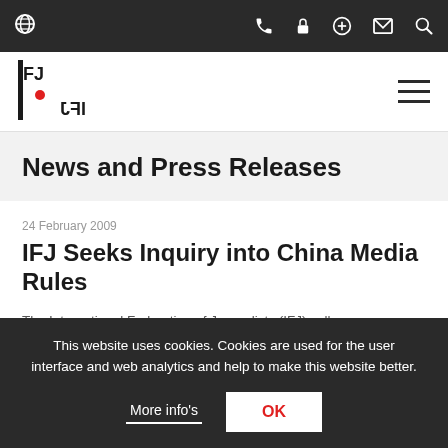IFJ navigation top bar with globe icon, phone, lock, plus, mail, search icons
[Figure (logo): IFJ (International Federation of Journalists) logo — stacked text IFJ with red dot, with FIJ mirrored below]
News and Press Releases
24 February 2009
IFJ Seeks Inquiry into China Media Rules
The International Federation of Journalists (IFJ) calls on
This website uses cookies. Cookies are used for the user interface and web analytics and help to make this website better.